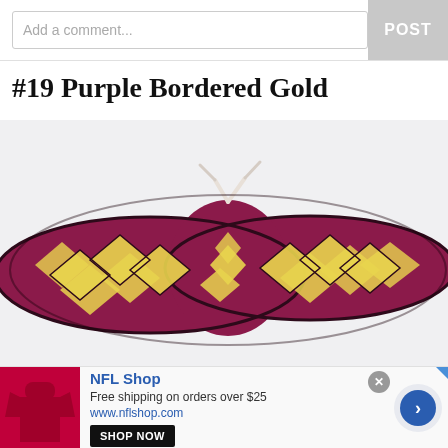Add a comment...
POST
#19 Purple Bordered Gold
[Figure (photo): A knitted headband or ear warmer with a purple/maroon base and gold/yellow diamond pattern, shown flat against a white background with a white tie string at the top center.]
NFL Shop
Free shipping on orders over $25
www.nflshop.com
SHOP NOW